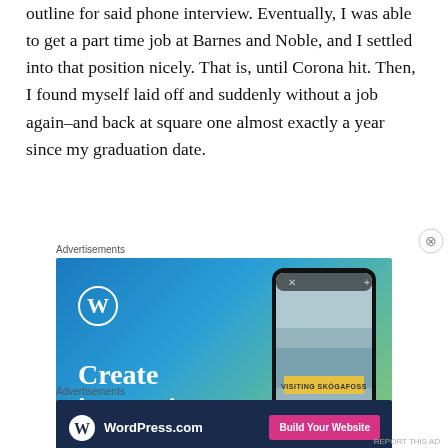outline for said phone interview. Eventually, I was able to get a part time job at Barnes and Noble, and I settled into that position nicely. That is, until Corona hit. Then, I found myself laid off and suddenly without a job again–and back at square one almost exactly a year since my graduation date.
Advertisements
[Figure (screenshot): WordPress.com advertisement banner with blue-green gradient background, WordPress logo (W in circle), text 'Create immersive', and a phone displaying a travel photo with 'VISITING SKOGAFOSS' label]
Advertisements
[Figure (screenshot): WordPress.com dark navy banner ad with WordPress logo, 'WordPress.com' text, and pink 'Build Your Website' button]